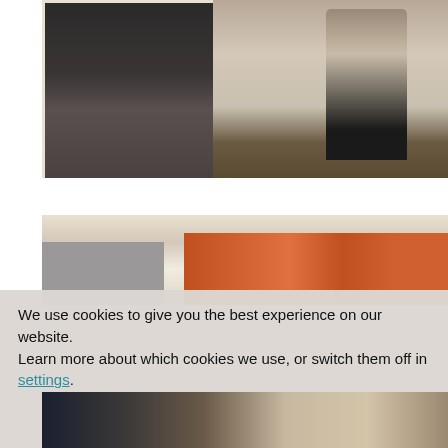[Figure (photo): A child standing next to a DIY play kitchen set with a gray magnetic chalkboard refrigerator door covered with colorful letter magnets, a white wooden frame, striped fabric curtains, and a stovetop with burners, on a wood floor.]
[Figure (photo): Close-up of the top portion of the DIY play kitchen showing the white frame, gray chalkboard panel on the left, and orange/multicolor striped fabric curtains on the right.]
We use cookies to give you the best experience on our website.
Learn more about which cookies we use, or switch them off in settings.
Accept
[Figure (photo): Bottom portion of the DIY play kitchen showing the refrigerator area and lower cabinet sections with striped curtains.]